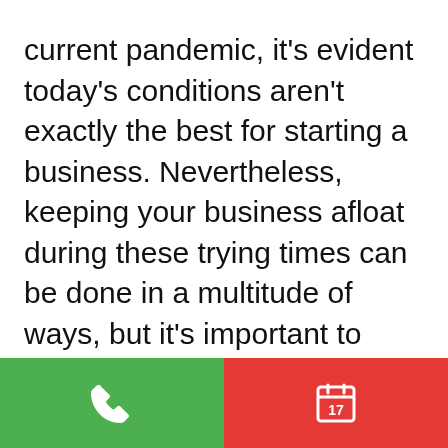current pandemic, it's evident today's conditions aren't exactly the best for starting a business. Nevertheless, keeping your business afloat during these trying times can be done in a multitude of ways, but it's important to note that some are far more beneficial than ever. With proper financial management, however, you can tackle a potential problem right at the source without risking eventual closure.

If you've been looking for a multitude of ways to proactively manage your business amidst the
[Figure (other): Bottom navigation bar with two buttons: green phone/call button on the left and red calendar/schedule button on the right]